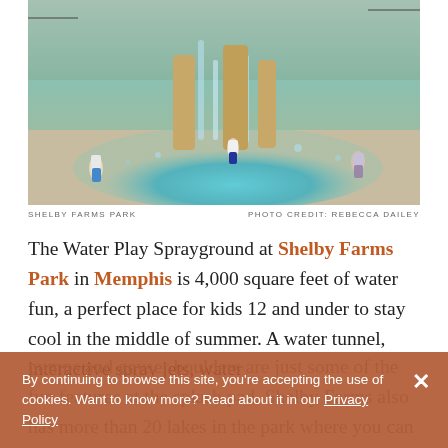[Figure (photo): Children playing in a water spray playground with fountains and water features on a blue splash pad surface, surrounded by rocks and greenery]
SHELBY FARMS PARK    PHOTO CREDIT: REBECCA DAILEY
The Water Play Sprayground at Shelby Farms Park in Memphis is 4,000 square feet of water fun, a perfect place for kids 12 and under to stay cool in the middle of summer. A water tunnel, interactive spray jets, water pumps and geyser boulders are just some of the fun features at the splash pad. Shelby Farms also has more than 20 lakes in the park where you can fish, canoe, paddleboard and kayak the day away.
By continuing to browse this site, you're accepting the use of cookies. Want to know more? Read about it in our Privacy Policy